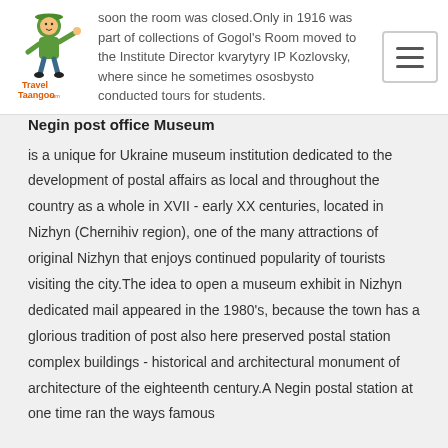soon the room was closed.Only in 1916 was part of collections of Gogol's Room moved to the Institute Director kvarytyry IP Kozlovsky, where since he sometimes ososbysto conducted tours for students.
Negin post office Museum
is a unique for Ukraine museum institution dedicated to the development of postal affairs as local and throughout the country as a whole in XVII - early XX centuries, located in Nizhyn (Chernihiv region), one of the many attractions of original Nizhyn that enjoys continued popularity of tourists visiting the city.The idea to open a museum exhibit in Nizhyn dedicated mail appeared in the 1980's, because the town has a glorious tradition of post also here preserved postal station complex buildings - historical and architectural monument of architecture of the eighteenth century.A Negin postal station at one time ran the ways famous